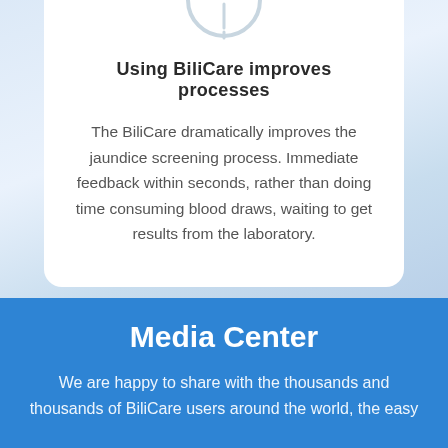[Figure (illustration): Circular icon/logo at the top of a white card, partially cropped]
Using BiliCare improves processes
The BiliCare dramatically improves the jaundice screening process. Immediate feedback within seconds, rather than doing time consuming blood draws, waiting to get results from the laboratory.
Media Center
We are happy to share with the thousands and thousands of BiliCare users around the world, the easy